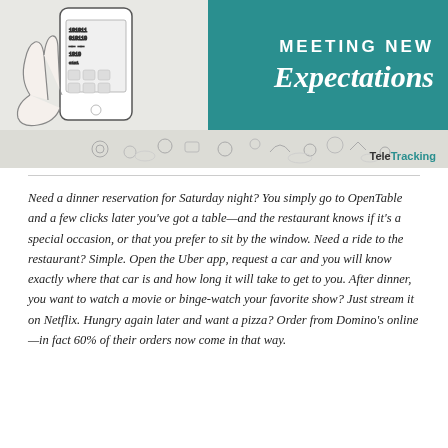[Figure (illustration): Banner image showing a hand holding a smartphone with binary code on screen on the left (line art illustration), and a teal/dark cyan overlay on the right with the text 'MEETING NEW Expectations' in white. Below the teal box is a light gray area with social media and connectivity icons. A TeleTracking logo appears in the lower right of the banner.]
Need a dinner reservation for Saturday night? You simply go to OpenTable and a few clicks later you've got a table—and the restaurant knows if it's a special occasion, or that you prefer to sit by the window. Need a ride to the restaurant? Simple. Open the Uber app, request a car and you will know exactly where that car is and how long it will take to get to you. After dinner, you want to watch a movie or binge-watch your favorite show? Just stream it on Netflix. Hungry again later and want a pizza? Order from Domino's online—in fact 60% of their orders now come in that way.